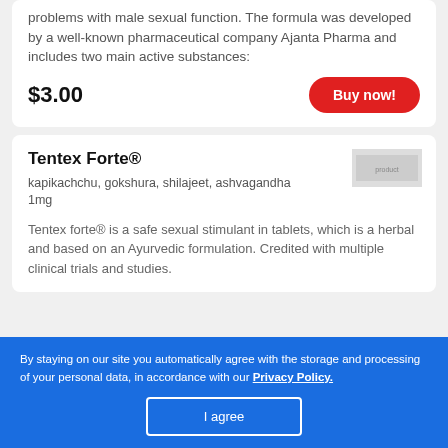problems with male sexual function. The formula was developed by a well-known pharmaceutical company Ajanta Pharma and includes two main active substances:
$3.00
Buy now!
Tentex Forte®
kapikachchu, gokshura, shilajeet, ashvagandha
1mg
[Figure (photo): Small blurred image of Tentex Forte product packaging]
Tentex forte® is a safe sexual stimulant in tablets, which is a herbal and based on an Ayurvedic formulation. Credited with multiple clinical trials and studies.
By staying on our site you automatically agree with the storage and processing of your personal data, in accordance with our Privacy Policy.
I agree